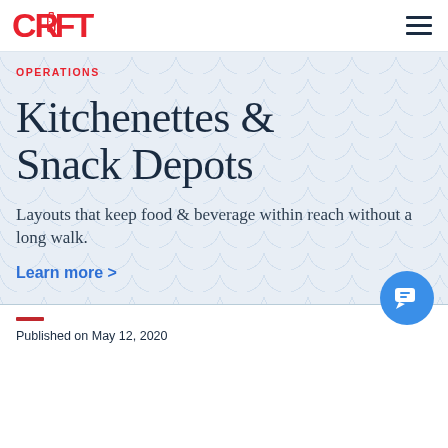CRAFTY [logo] — navigation bar with hamburger menu
OPERATIONS
Kitchenettes & Snack Depots
Layouts that keep food & beverage within reach without a long walk.
Learn more >
Published on May 12, 2020